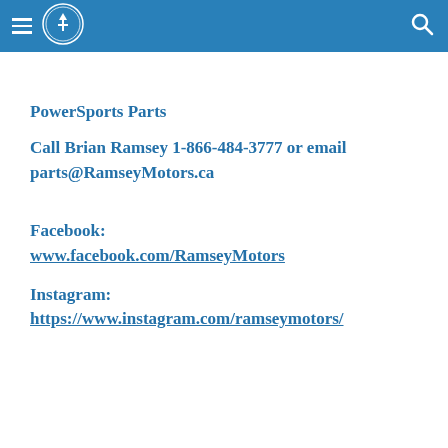Ramsey Motors navigation header with hamburger menu, logo, and search icon
PowerSports Parts
Call Brian Ramsey 1-866-484-3777 or email parts@RamseyMotors.ca
Facebook:
www.facebook.com/RamseyMotors
Instagram:
https://www.instagram.com/ramseymotors/